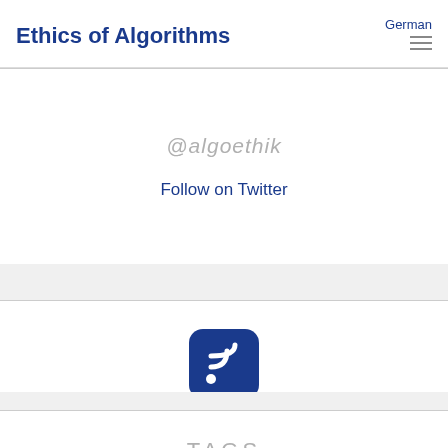Ethics of Algorithms | German
@algoethik
Follow on Twitter
[Figure (logo): RSS feed icon — white WiFi-like wave symbol on a dark blue rounded-square background]
Follow RSS Feed
TAGS